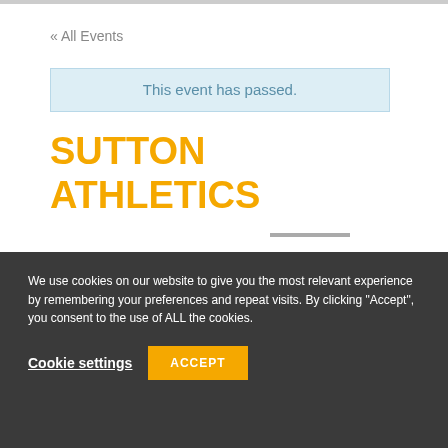« All Events
This event has passed.
SUTTON ATHLETICS
We use cookies on our website to give you the most relevant experience by remembering your preferences and repeat visits. By clicking "Accept", you consent to the use of ALL the cookies.
Cookie settings
ACCEPT